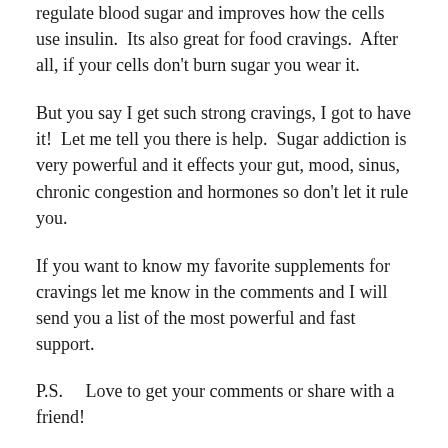regulate blood sugar and improves how the cells use insulin.  Its also great for food cravings.  After all, if your cells don't burn sugar you wear it.
But you say I get such strong cravings, I got to have it!  Let me tell you there is help.  Sugar addiction is very powerful and it effects your gut, mood, sinus, chronic congestion and hormones so don't let it rule you.
If you want to know my favorite supplements for cravings let me know in the comments and I will send you a list of the most powerful and fast support.
P.S.    Love to get your comments or share with a friend!